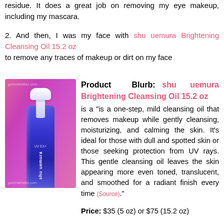residue. It does a great job on removing my eye makeup, including my mascara.
2. And then, I was my face with shu uemura Brightening Cleansing Oil 15.2 oz to remove any traces of makeup or dirt on my face
[Figure (photo): Photo of shu uemura Brightening Cleansing Oil bottle in blue against a pink background, with watermarks 'gummiebitez.com']
Product Blurb: shu uemura Brightening Cleansing Oil 15.2 oz is a "is a one-step, mild cleansing oil that removes makeup while gently cleansing, moisturizing, and calming the skin. It's ideal for those with dull and spotted skin or those seeking protection from UV rays. This gentle cleansing oil leaves the skin appearing more even toned, translucent, and smoothed for a radiant finish every time (Source)."
Price: $35 (5 oz) or $75 (15.2 oz)